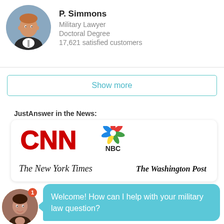[Figure (photo): Circular profile photo of P. Simmons, a man in a suit]
P. Simmons
Military Lawyer
Doctoral Degree
17,621 satisfied customers
Show more
JustAnswer in the News:
[Figure (logo): CNN logo in red]
[Figure (logo): NBC peacock logo with colorful feathers and NBC text]
[Figure (logo): The New York Times logo in black serif font]
[Figure (logo): The Washington Post logo in black serif font]
[Figure (photo): Circular profile photo of a young woman smiling, chat avatar]
Welcome! How can I help with your military law question?